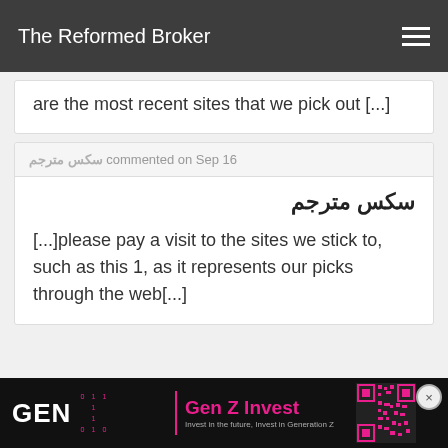The Reformed Broker
are the most recent sites that we pick out [...]
سکس مترجم commented on Sep 16
سکس مترجم
[...]please pay a visit to the sites we stick to, such as this 1, as it represents our picks through the web[...]
[Figure (other): Advertisement banner for Gen Z Invest with QR code]